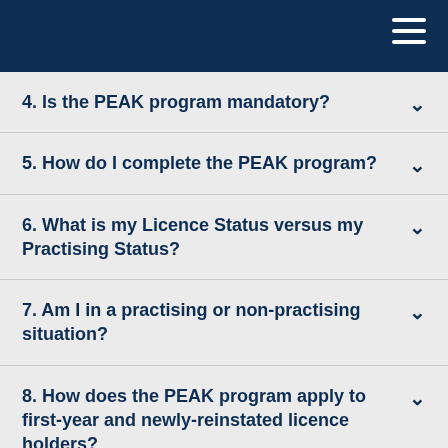4. Is the PEAK program mandatory?
5. How do I complete the PEAK program?
6. What is my Licence Status versus my Practising Status?
7. Am I in a practising or non-practising situation?
8. How does the PEAK program apply to first-year and newly-reinstated licence holders?